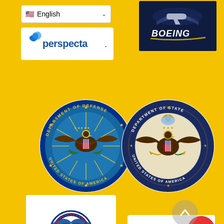[Figure (logo): English language dropdown selector with US flag]
[Figure (logo): Perspecta company logo]
[Figure (logo): Boeing logo with airplane silhouette on dark blue background]
[Figure (logo): US Department of Defense seal - eagle with shield, stars, olive branch]
[Figure (logo): US Department of State seal - eagle with shield on dark blue ring]
[Figure (logo): US Department of Homeland Security seal with Homeland Security text]
[Figure (logo): Constellis logo with star icon and SECURE SUCCESS tagline]